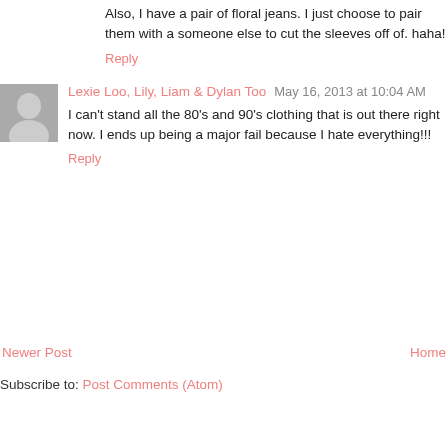Also, I have a pair of floral jeans. I just choose to pair them with a someone else to cut the sleeves off of. haha!
Reply
Lexie Loo, Lily, Liam & Dylan Too  May 16, 2013 at 10:04 AM
I can't stand all the 80's and 90's clothing that is out there right now. I ends up being a major fail because I hate everything!!!
Reply
Newer Post
Home
Subscribe to: Post Comments (Atom)